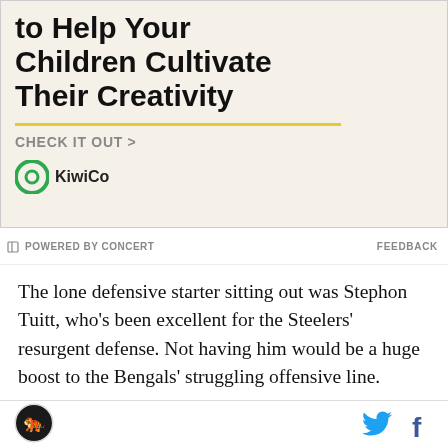[Figure (illustration): KiwiCo advertisement banner showing partial title 'to Help Your Children Cultivate Their Creativity' with a yellow horizontal line, 'CHECK IT OUT >' call to action, and KiwiCo logo on a beige textured background]
⊣ POWERED BY CONCERT
FEEDBACK
The lone defensive starter sitting out was Stephon Tuitt, who's been excellent for the Steelers' resurgent defense. Not having him would be a huge boost to the Bengals' struggling offensive line.
[Figure (logo): Bengals team logo circle icon in footer]
[Figure (other): Twitter bird icon and Facebook 'f' icon in footer]